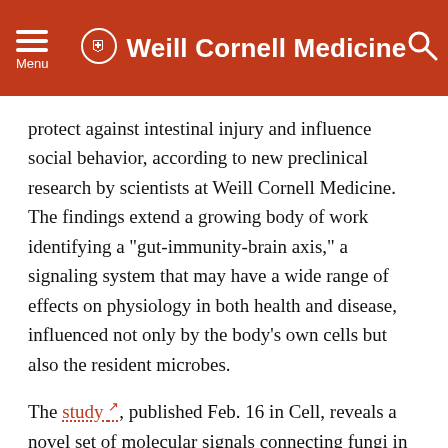Menu | Weill Cornell Medicine
protect against intestinal injury and influence social behavior, according to new preclinical research by scientists at Weill Cornell Medicine. The findings extend a growing body of work identifying a "gut-immunity-brain axis," a signaling system that may have a wide range of effects on physiology in both health and disease, influenced not only by the body's own cells but also the resident microbes.
The study [external link], published Feb. 16 in Cell, reveals a novel set of molecular signals connecting fungi in the gut to their host's cells throughout the body, including immune cells and neurons.
“We have made a direct link between a major immune pathway induced by fungi in the lining of the intestine and